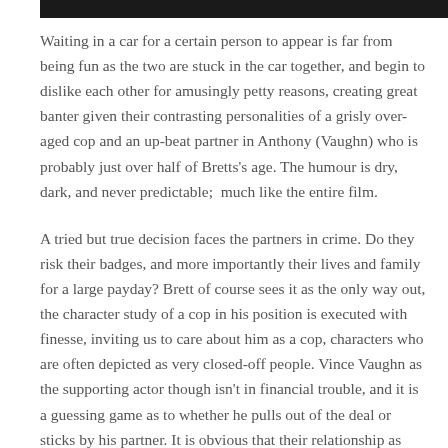Waiting in a car for a certain person to appear is far from being fun as the two are stuck in the car together, and begin to dislike each other for amusingly petty reasons, creating great banter given their contrasting personalities of a grisly over-aged cop and an up-beat partner in Anthony (Vaughn) who is probably just over half of Bretts's age. The humour is dry, dark, and never predictable;  much like the entire film.
A tried but true decision faces the partners in crime. Do they risk their badges, and more importantly their lives and family for a large payday? Brett of course sees it as the only way out, the character study of a cop in his position is executed with finesse, inviting us to care about him as a cop, characters who are often depicted as very closed-off people. Vince Vaughn as the supporting actor though isn't in financial trouble, and it is a guessing game as to whether he pulls out of the deal or sticks by his partner. It is obvious that their relationship as